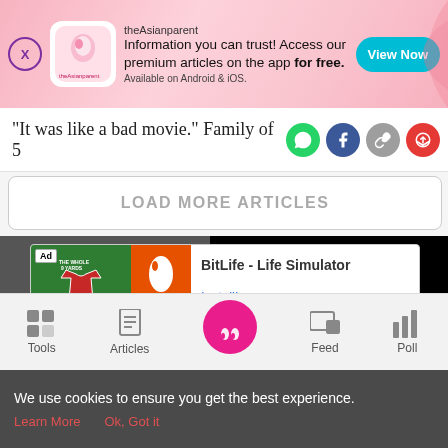[Figure (screenshot): theAsianparent app advertisement banner with pink background, logo, text and View Now button]
"It was like a bad movie." Family of 5
[Figure (screenshot): LOAD MORE ARTICLES button with rounded border]
[Figure (screenshot): Dark video area with gray panel showing arrow and truncated text: Get advice on... Si...]
[Figure (screenshot): BitLife - Life Simulator app advertisement with Install! link]
[Figure (screenshot): Bottom navigation bar with Tools, Articles, center pink button, Feed, Poll]
We use cookies to ensure you get the best experience.
Learn More   Ok, Got it